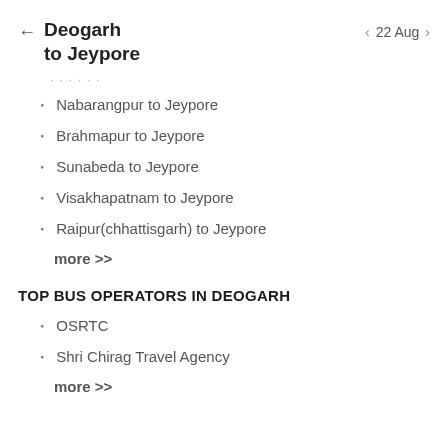Deogarh to Jeypore | 22 Aug
Nabarangpur to Jeypore
Brahmapur to Jeypore
Sunabeda to Jeypore
Visakhapatnam to Jeypore
Raipur(chhattisgarh) to Jeypore
more >>
TOP BUS OPERATORS IN DEOGARH
OSRTC
Shri Chirag Travel Agency
more >>